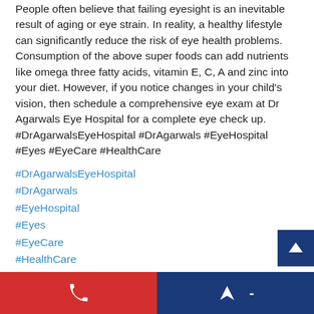People often believe that failing eyesight is an inevitable result of aging or eye strain. In reality, a healthy lifestyle can significantly reduce the risk of eye health problems. Consumption of the above super foods can add nutrients like omega three fatty acids, vitamin E, C, A and zinc into your diet. However, if you notice changes in your child's vision, then schedule a comprehensive eye exam at Dr Agarwals Eye Hospital for a complete eye check up. #DrAgarwalsEyeHospital #DrAgarwals #EyeHospital #Eyes #EyeCare #HealthCare
#DrAgarwalsEyeHospital
#DrAgarwals
#EyeHospital
#Eyes
#EyeCare
#HealthCare
प्रकाशित तिथि : 16 Aug 2022 7:30 PM
[Figure (other): Bottom navigation bar with phone icon on red background and direction/navigation icons on dark blue background]